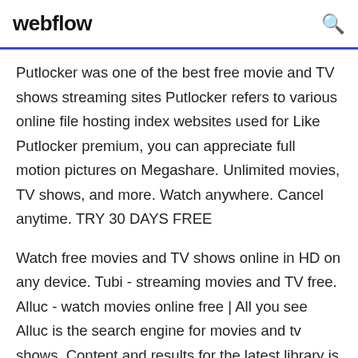webflow
Putlocker was one of the best free movie and TV shows streaming sites Putlocker refers to various online file hosting index websites used for Like Putlocker premium, you can appreciate full motion pictures on Megashare. Unlimited movies, TV shows, and more. Watch anywhere. Cancel anytime. TRY 30 DAYS FREE
Watch free movies and TV shows online in HD on any device. Tubi - streaming movies and TV free. Alluc - watch movies online free | All you see Alluc is the search engine for movies and tv shows. Content and results for the latest library is available on Alluc for free. F2Movies | Watch Full TV Episodes and Movies - Streaming for